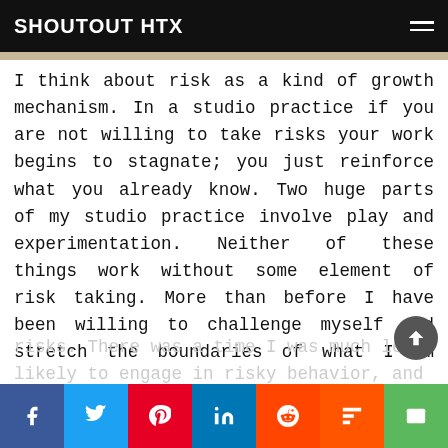SHOUTOUT HTX
I think about risk as a kind of growth mechanism. In a studio practice if you are not willing to take risks your work begins to stagnate; you just reinforce what you already know. Two huge parts of my studio practice involve play and experimentation. Neither of these things work without some element of risk taking. More than before I have been willing to challenge myself and stretch the boundaries of what I am capable of. I wouldn’t be half the painter I am today without a willingness to take risks. There was a time I was much less likely to engage in risky behavior, and my work suffered